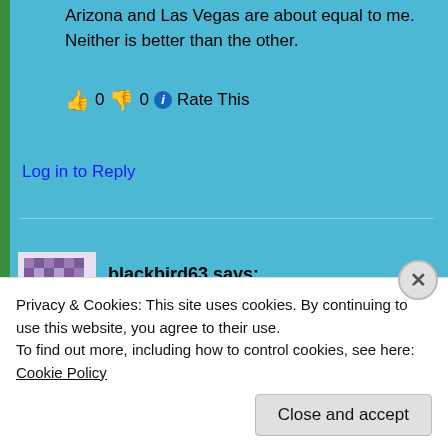Arizona and Las Vegas are about equal to me. Neither is better than the other.
👍 0 👎 0 ℹ Rate This
Log in to Reply
blackbird63 says:
November 6, 2012 at 4:16 pm
Do that, and pray. I'm finding it hard to believe that God is listening sometimes, but I try to sometimes. It can't do any harm!
👍 0 👎 0 ℹ Rate This
Privacy & Cookies: This site uses cookies. By continuing to use this website, you agree to their use.
To find out more, including how to control cookies, see here: Cookie Policy
Close and accept